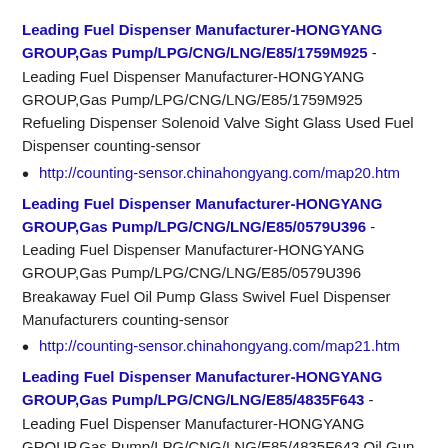Leading Fuel Dispenser Manufacturer-HONGYANG GROUP,Gas Pump/LPG/CNG/LNG/E85/1759M925 - Leading Fuel Dispenser Manufacturer-HONGYANG GROUP,Gas Pump/LPG/CNG/LNG/E85/1759M925 Refueling Dispenser Solenoid Valve Sight Glass Used Fuel Dispenser counting-sensor
http://counting-sensor.chinahongyang.com/map20.htm
Leading Fuel Dispenser Manufacturer-HONGYANG GROUP,Gas Pump/LPG/CNG/LNG/E85/0579U396 - Leading Fuel Dispenser Manufacturer-HONGYANG GROUP,Gas Pump/LPG/CNG/LNG/E85/0579U396 Breakaway Fuel Oil Pump Glass Swivel Fuel Dispenser Manufacturers counting-sensor
http://counting-sensor.chinahongyang.com/map21.htm
Leading Fuel Dispenser Manufacturer-HONGYANG GROUP,Gas Pump/LPG/CNG/LNG/E85/4835F643 - Leading Fuel Dispenser Manufacturer-HONGYANG GROUP,Gas Pump/LPG/CNG/LNG/E85/4835F643 Oil Gun Electric Motor Gear Pump Fuel Dispensers counting-